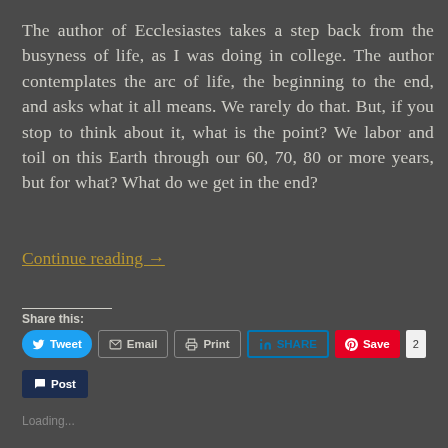The author of Ecclesiastes takes a step back from the busyness of life, as I was doing in college. The author contemplates the arc of life, the beginning to the end, and asks what it all means. We rarely do that. But, if you stop to think about it, what is the point? We labor and toil on this Earth through our 60, 70, 80 or more years, but for what? What do we get in the end?
Continue reading →
Share this:
Tweet  Email  Print  SHARE  Save  2  Post
Loading...